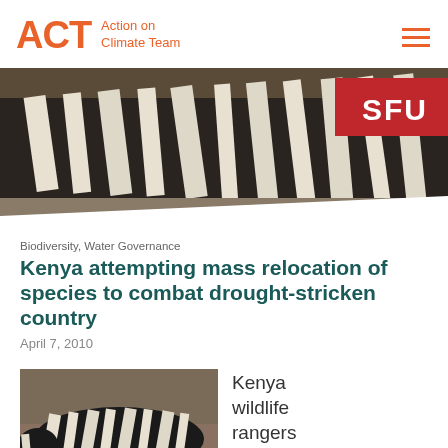ACT Action on Climate Team
[Figure (photo): Zebras grazing, close-up of zebra stripes, with SFU red badge in top right corner]
Biodiversity, Water Governance
Kenya attempting mass relocation of species to combat drought-stricken country
April 7, 2010
[Figure (photo): Close-up photo of a zebra lying down, showing black and white stripes]
Kenya wildlife rangers are